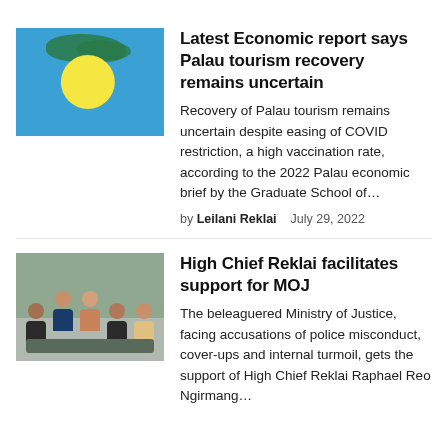[Figure (photo): Palau flag — blue background with yellow circle, green island landmasses visible]
Latest Economic report says Palau tourism recovery remains uncertain
Recovery of Palau tourism remains uncertain despite easing of COVID restriction, a high vaccination rate, according to the 2022 Palau economic brief by the Graduate School of…
by Leilani Reklai    July 29, 2022
[Figure (photo): Group photo of five people — three seated, two standing — in a conference room setting]
High Chief Reklai facilitates support for MOJ
The beleaguered Ministry of Justice, facing accusations of police misconduct, cover-ups and internal turmoil, gets the support of High Chief Reklai Raphael Reo Ngirmang…